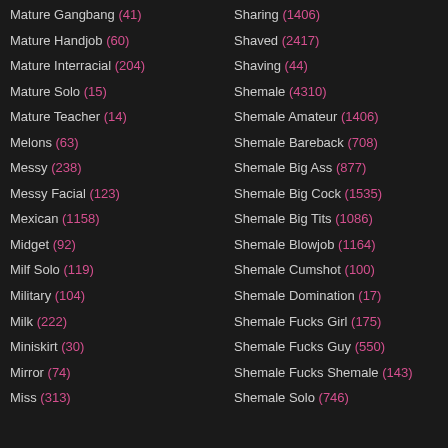Mature Gangbang (41)
Mature Handjob (60)
Mature Interracial (204)
Mature Solo (15)
Mature Teacher (14)
Melons (63)
Messy (238)
Messy Facial (123)
Mexican (1158)
Midget (92)
Milf Solo (119)
Military (104)
Milk (222)
Miniskirt (30)
Mirror (74)
Miss (313)
Sharing (1406)
Shaved (2417)
Shaving (44)
Shemale (4310)
Shemale Amateur (1406)
Shemale Bareback (708)
Shemale Big Ass (877)
Shemale Big Cock (1535)
Shemale Big Tits (1086)
Shemale Blowjob (1164)
Shemale Cumshot (100)
Shemale Domination (17)
Shemale Fucks Girl (175)
Shemale Fucks Guy (550)
Shemale Fucks Shemale (143)
Shemale Solo (746)